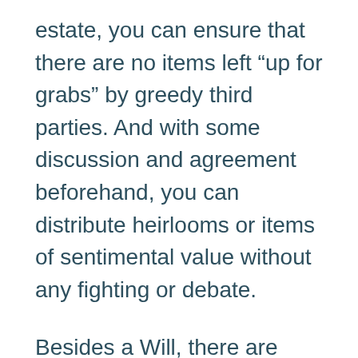estate, you can ensure that there are no items left “up for grabs” by greedy third parties. And with some discussion and agreement beforehand, you can distribute heirlooms or items of sentimental value without any fighting or debate.
Besides a Will, there are other things you can do to take care of your loved ones as part of your estate planning before you die. Australian property law allows property assets (or “real” assets) being held in multiple names. For example by spouses or